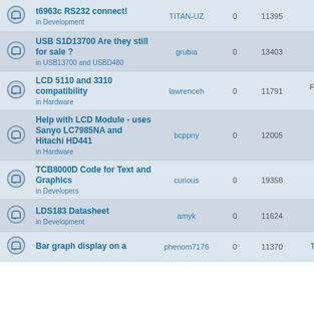|  | Topic | Author | Replies | Views | Last Post |
| --- | --- | --- | --- | --- | --- |
|  | t6963c RS232 connect! in Development | TITAN-UZ | 0 | 11395 | Mon Jul 04 19:07 TITAN-UZ |
|  | USB S1D13700 Are they still for sale ? in USB13700 and USBD480 | grubia | 0 | 13403 | Wed Jun 22 13:37 grubia |
|  | LCD 5110 and 3310 compatibility in Hardware | lawrenceh | 0 | 11791 | Fri Jun 17, 20 lawrenceh |
|  | Help with LCD Module - uses Sanyo LC7985NA and Hitachi HD441 in Hardware | bcppny | 0 | 12005 | Sun May 29 19:51 bcppny |
|  | TCB8000D Code for Text and Graphics in Developers | curious | 0 | 19358 | Thu May 26 21:56 curious |
|  | LDS183 Datasheet in Development | amyk | 0 | 11624 | Sun May 08 13:11 amyk |
|  | Bar graph display on a | phenom7176 | 0 | 11370 | Thu Apr 28, 2 |